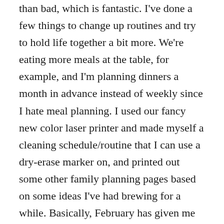than bad, which is fantastic. I've done a few things to change up routines and try to hold life together a bit more. We're eating more meals at the table, for example, and I'm planning dinners a month in advance instead of weekly since I hate meal planning. I used our fancy new color laser printer and made myself a cleaning schedule/routine that I can use a dry-erase marker on, and printed out some other family planning pages based on some ideas I've had brewing for a while. Basically, February has given me the much needed time to do all the things I've needed to do (focusing on myself/our home, that is).
The scarf for the husband has stalled. I was doing so well, knitting on it every chance I got. I never once got tired of it – I think switching colors every 2 rows helped. And then a